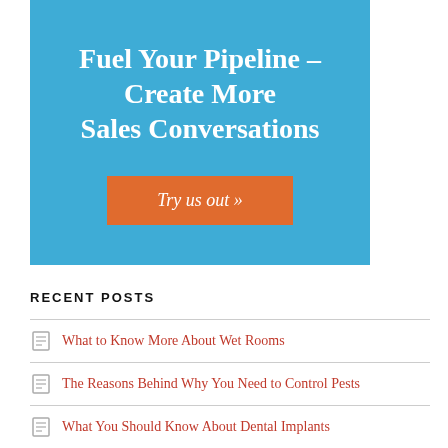[Figure (infographic): Blue banner advertisement with white text reading 'Fuel Your Pipeline - Create More Sales Conversations' and an orange call-to-action button 'Try us out »']
RECENT POSTS
What to Know More About Wet Rooms
The Reasons Behind Why You Need to Control Pests
What You Should Know About Dental Implants
Essential Safety Tips for Pressure Washing a Roof